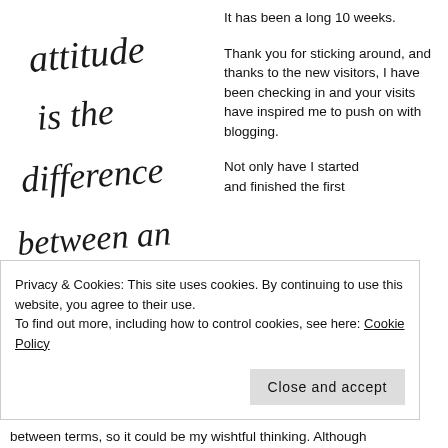[Figure (illustration): Handwritten calligraphy quote: 'Attitude is the difference between an ordeal and an adventure.']
It has been a long 10 weeks.
Thank you for sticking around, and thanks to the new visitors, I have been checking in and your visits have inspired me to push on with blogging.
Not only have I started and finished the first...
Privacy & Cookies: This site uses cookies. By continuing to use this website, you agree to their use.
To find out more, including how to control cookies, see here: Cookie Policy
Close and accept
between terms, so it could be my wishtful thinking. Although